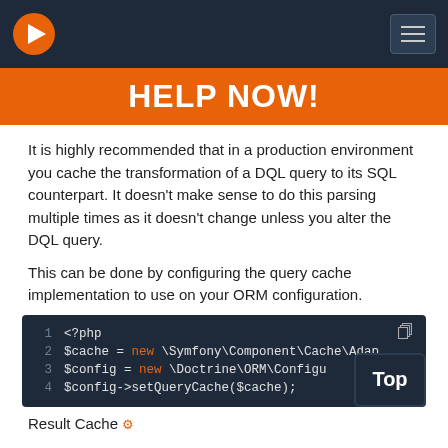HELP NOW!
It is highly recommended that in a production environment you cache the transformation of a DQL query to its SQL counterpart. It doesn't make sense to do this parsing multiple times as it doesn't change unless you alter the DQL query.
This can be done by configuring the query cache implementation to use on your ORM configuration.
[Figure (screenshot): PHP code block showing: 1: <?php  2: $cache = new \Symfony\Component\Cache\Adap...  3: $config = new \Doctrine\ORM\Configu...()  4: $config->setQueryCache($cache);  with a 'Top' button overlay on bottom right]
Result Cache